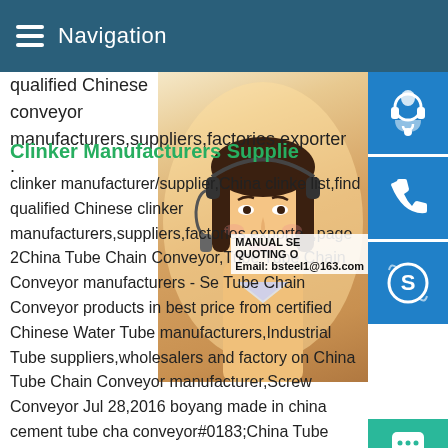Navigation
qualified Chinese conveyor manufacturers,suppliers,factories,exporter .
Clinker Manufacturers Supplie
clinker manufacturer/supplier,China clinke list,find qualified Chinese clinker manufacturers,suppliers,factories,exporte .,page 2China Tube Chain Conveyor,Tube Tube Chain Conveyor manufacturers - Se Tube Chain Conveyor products in best price from certified Chinese Water Tube manufacturers,Industrial Tube suppliers,wholesalers and factory on China Tube Chain Conveyor manufacturer,Screw Conveyor Jul 28,2016 boyang made in china cement tube chain conveyor#0183;China Tube Chain Conveyor supplier,Screw Conveyor,Screw Conveyor Manufacturers/ Suppliers - Wuxi R
[Figure (photo): Woman with headset, customer service representative photo]
[Figure (infographic): Side icons: headset/customer service (blue), phone (blue), Skype logo (blue); Manual service quoting overlay with email bsteel1@163.com; Chat button (teal); Up arrow button (gray)]